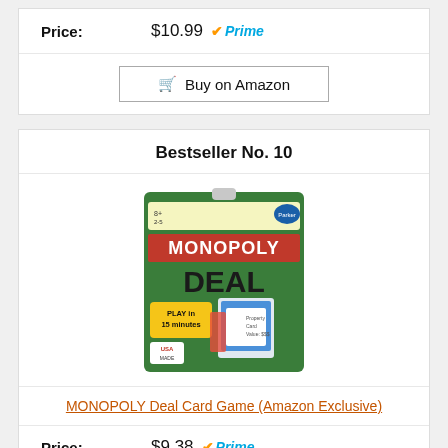Price: $10.99 Prime
Buy on Amazon
Bestseller No. 10
[Figure (photo): Monopoly Deal Card Game product box]
MONOPOLY Deal Card Game (Amazon Exclusive)
Price: $9.38 Prime